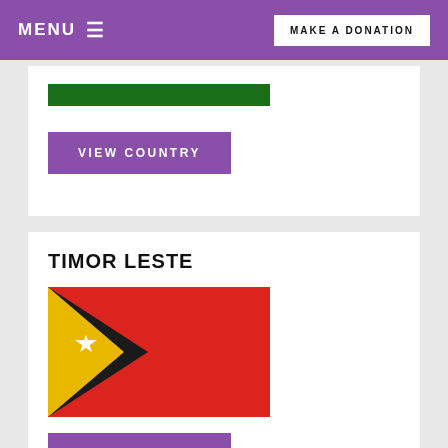MENU ≡   MAKE A DONATION
[Figure (illustration): Green bar (partial country flag or banner element)]
VIEW COUNTRY
TIMOR LESTE
[Figure (illustration): Flag of Timor Leste: red background with black triangle on the left containing a white star, and a yellow triangle bisecting the black.]
VIEW COUNTRY